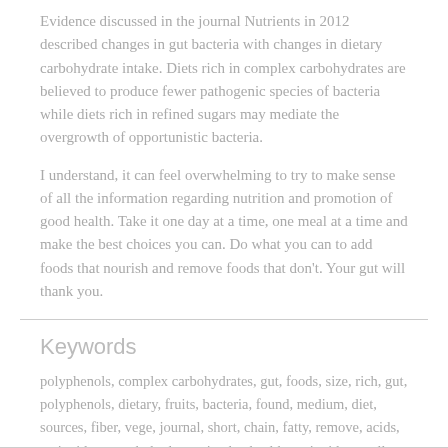Evidence discussed in the journal Nutrients in 2012 described changes in gut bacteria with changes in dietary carbohydrate intake. Diets rich in complex carbohydrates are believed to produce fewer pathogenic species of bacteria while diets rich in refined sugars may mediate the overgrowth of opportunistic bacteria.
I understand, it can feel overwhelming to try to make sense of all the information regarding nutrition and promotion of good health. Take it one day at a time, one meal at a time and make the best choices you can. Do what you can to add foods that nourish and remove foods that don't. Your gut will thank you.
Keywords
polyphenols, complex carbohydrates, gut, foods, size, rich, gut, polyphenols, dietary, fruits, bacteria, found, medium, diet, sources, fiber, vege, journal, short, chain, fatty, remove, acids, antioxidants, carbohydrates, intake, health, antioxidant, cells, complex